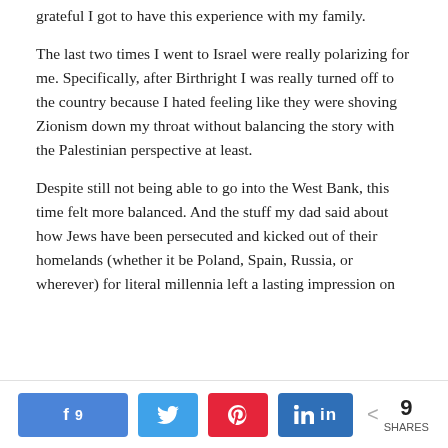grateful I got to have this experience with my family.
The last two times I went to Israel were really polarizing for me. Specifically, after Birthright I was really turned off to the country because I hated feeling like they were shoving Zionism down my throat without balancing the story with the Palestinian perspective at least.
Despite still not being able to go into the West Bank, this time felt more balanced. And the stuff my dad said about how Jews have been persecuted and kicked out of their homelands (whether it be Poland, Spain, Russia, or wherever) for literal millennia left a lasting impression on
Share buttons: Facebook 9, Twitter, Pinterest, LinkedIn | 9 SHARES